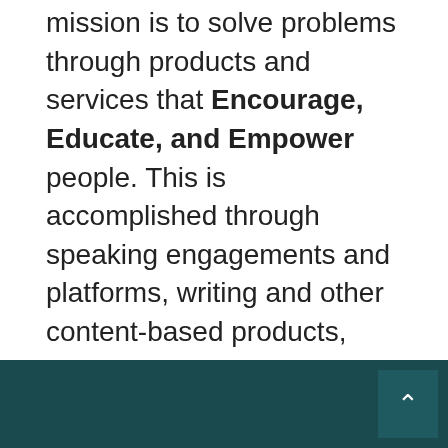mission is to solve problems through products and services that Encourage, Educate, and Empower people. This is accomplished through speaking engagements and platforms, writing and other content-based products, educational consulting and advising, women's mentoring and life coaching, and event hosting (webinars, camps, conferences, workshops, etc). Our products and services are strategically focused on building the city by building the people.